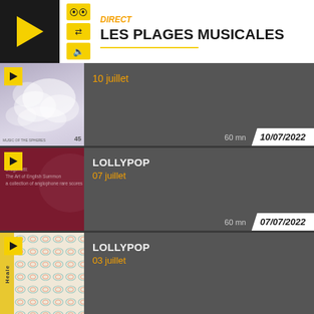LES PLAGES MUSICALES
DIRECT
[Figure (screenshot): Radio app card: 10 juillet, 60 mn, 10/07/2022]
10 juillet
60 mn
10/07/2022
[Figure (screenshot): Radio app card: LOLLYPOP, 07 juillet, 60 mn, 07/07/2022]
LOLLYPOP
07 juillet
60 mn
07/07/2022
[Figure (screenshot): Radio app card: LOLLYPOP, 03 juillet]
LOLLYPOP
03 juillet